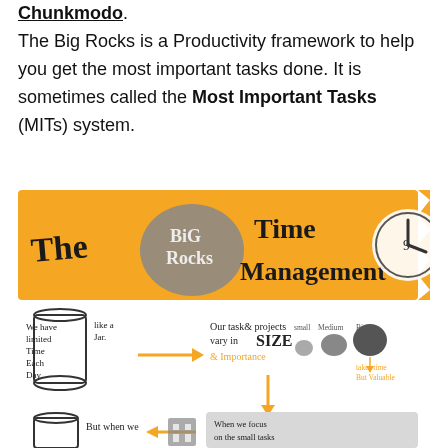[Chunkmodo]. The Big Rocks is a Productivity framework to help you get the most important tasks done. It is sometimes called the Most Important Tasks (MITs) system.
[Figure (infographic): Infographic titled 'The Big Rocks Time Management'. Orange banner at top with hand-drawn text 'The Big Rocks Time Management' and a clock graphic. Below: sketch of a jar with text 'We have limited Time Each Day like a Jar.' Arrow pointing right to 'Our tasks & projects vary in SIZE & Importance' with small, medium, big rock illustrations and note 'takes time But Valuable'. Arrow pointing down to a box 'When we focus on the small tasks...' Bottom shows another jar and text 'But when we']